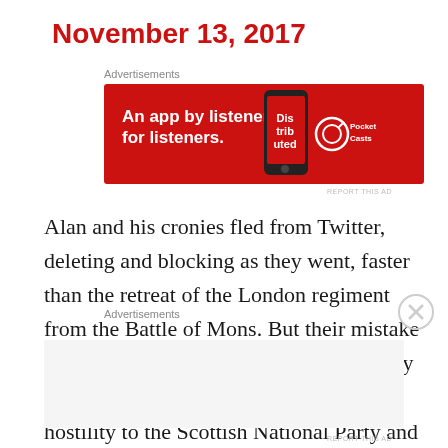November 13, 2017
Advertisements
[Figure (infographic): Pocket Casts advertisement banner: red background with text 'An app by listeners, for listeners.' and Pocket Casts logo with a podcast app phone image]
REPORT THIS AD
Alan and his cronies fled from Twitter, deleting and blocking as they went, faster than the retreat of the London regiment from the Battle of Mons. But their mistake exposed pretty much everything we really need to know about these people. Their hostility to the Scottish National Party and the idea of independence is not
Advertisements
REPORT THIS AD